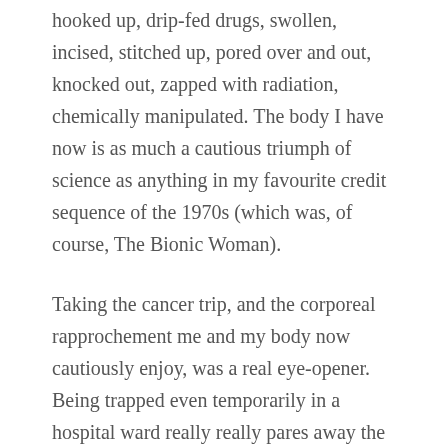hooked up, drip-fed drugs, swollen, incised, stitched up, pored over and out, knocked out, zapped with radiation, chemically manipulated. The body I have now is as much a cautious triumph of science as anything in my favourite credit sequence of the 1970s (which was, of course, The Bionic Woman).
Taking the cancer trip, and the corporeal rapprochement me and my body now cautiously enjoy, was a real eye-opener. Being trapped even temporarily in a hospital ward really really pares away the inessentials, reacquainting me (at least) with what I appreciate most in life. Beloved apart, that means a belated realisation that happiness to